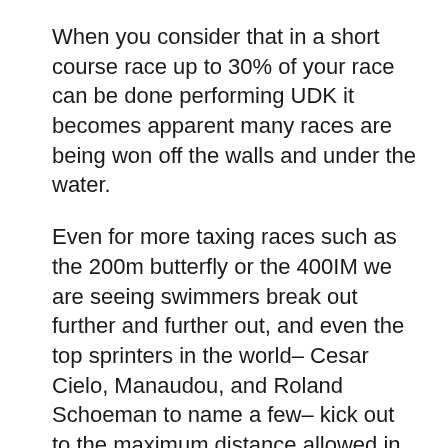When you consider that in a short course race up to 30% of your race can be done performing UDK it becomes apparent many races are being won off the walls and under the water.
Even for more taxing races such as the 200m butterfly or the 400IM we are seeing swimmers break out further and further out, and even the top sprinters in the world– Cesar Cielo, Manaudou, and Roland Schoeman to name a few– kick out to the maximum distance allowed in the fastest event on the Olympic program, the 50m freestyle.